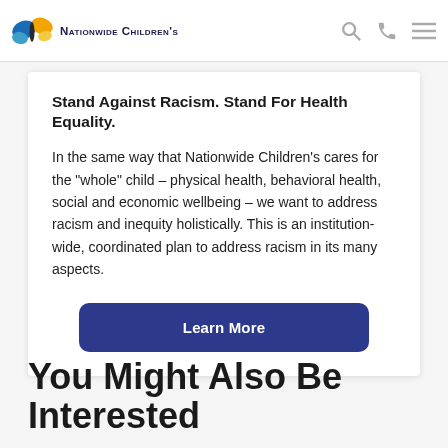Nationwide Children's
Stand Against Racism. Stand For Health Equality.
In the same way that Nationwide Children's cares for the "whole" child – physical health, behavioral health, social and economic wellbeing – we want to address racism and inequity holistically. This is an institution-wide, coordinated plan to address racism in its many aspects.
Learn More
You Might Also Be Interested